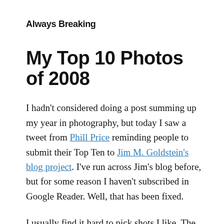Always Breaking
My Top 10 Photos of 2008
I hadn't considered doing a post summing up my year in photography, but today I saw a tweet from Phill Price reminding people to submit their Top Ten to Jim M. Goldstein's blog project. I've run across Jim's blog before, but for some reason I haven't subscribed in Google Reader. Well, that has been fixed.
I usually find it hard to pick shots I like. The